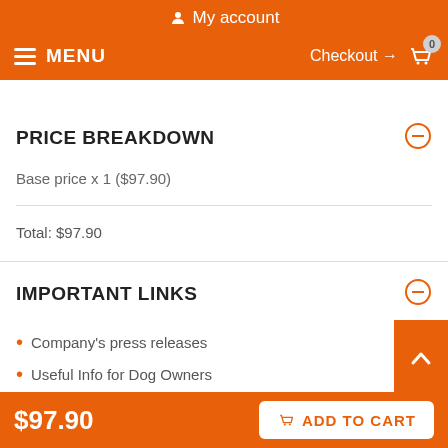My account
MENU  Checkout → 0
PRICE BREAKDOWN
Base price x 1 ($97.90)
Total: $97.90
IMPORTANT LINKS
Company's press releases
Useful Info for Dog Owners
$97.90  ADD TO CART